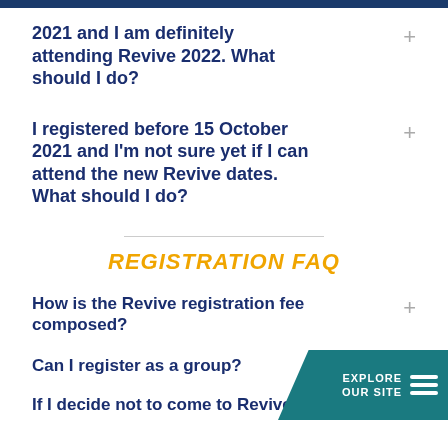2021 and I am definitely attending Revive 2022. What should I do?
I registered before 15 October 2021 and I'm not sure yet if I can attend the new Revive dates. What should I do?
REGISTRATION FAQ
How is the Revive registration fee composed?
Can I register as a group?
If I decide not to come to Revive